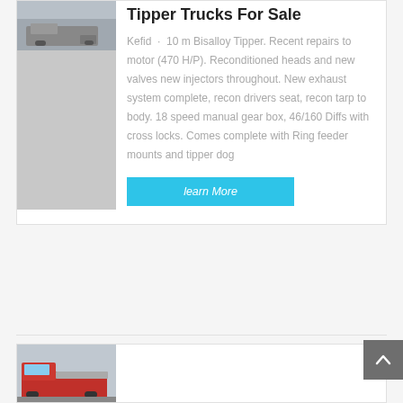Tipper Trucks For Sale
Kefid · 10 m Bisalloy Tipper. Recent repairs to motor (470 H/P). Reconditioned heads and new valves new injectors throughout. New exhaust system complete, recon drivers seat, recon tarp to body. 18 speed manual gear box, 46/160 Diffs with cross locks. Comes complete with Ring feeder mounts and tipper dog
[Figure (photo): Thumbnail image of a tipper truck, partially visible at top of card]
[Figure (photo): Thumbnail image of a red tipper truck, partially visible at bottom of page in second card]